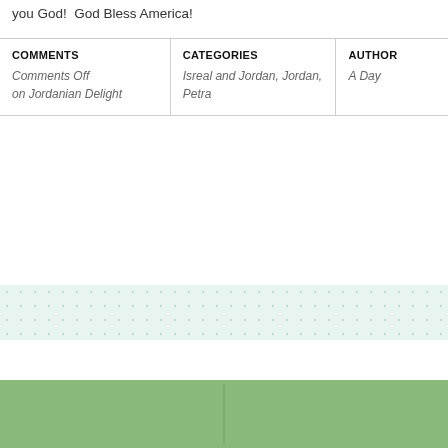you God!  God Bless America!
| COMMENTS | CATEGORIES | AUTHOR |
| --- | --- | --- |
| Comments Off on Jordanian Delight | Isreal and Jordan, Jordan, Petra | A Day |